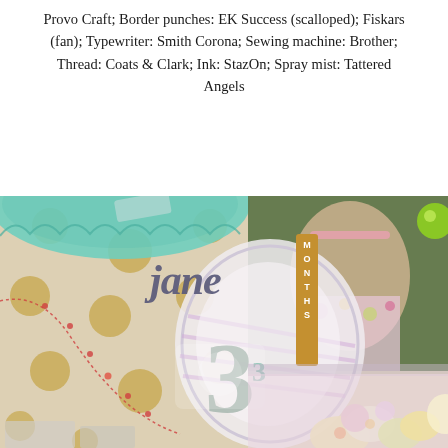Provo Craft; Border punches: EK Success (scalloped); Fiskars (fan); Typewriter: Smith Corona; Sewing machine: Brother; Thread: Coats & Clark; Ink: StazOn; Spray mist: Tattered Angels
[Figure (photo): Scrapbook layout featuring a baby girl in a floral dress with glitter letters spelling 'jane', a number 3 and 'MONTHS' banner on a striped and lace circle, teal doily border punch decoration, yellow polka dot patterned paper, red thread/bead embellishment, and flower die cuts.]